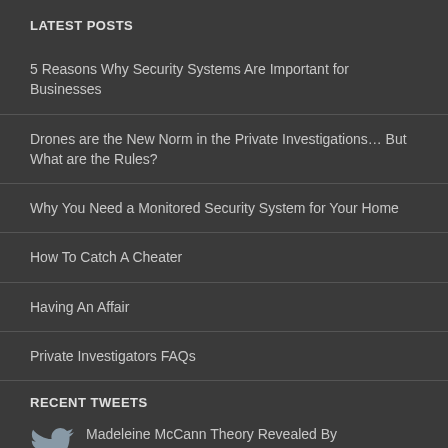LATEST POSTS
5 Reasons Why Security Systems Are Important for Businesses
Drones are the New Norm in the Private Investigations… But What are the Rules?
Why You Need a Monitored Security System for Your Home
How To Catch A Cheater
Having An Affair
Private Investigators FAQs
RECENT TWEETS
Madeleine McCann Theory Revealed By Investigative